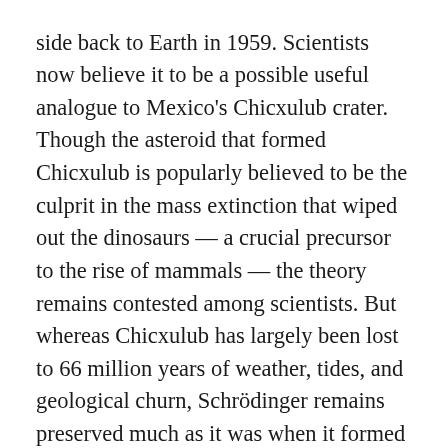side back to Earth in 1959. Scientists now believe it to be a possible useful analogue to Mexico's Chicxulub crater. Though the asteroid that formed Chicxulub is popularly believed to be the culprit in the mass extinction that wiped out the dinosaurs — a crucial precursor to the rise of mammals — the theory remains contested among scientists. But whereas Chicxulub has largely been lost to 66 million years of weather, tides, and geological churn, Schrödinger remains preserved much as it was when it formed four billion years ago.
What awaits us on the Moon, in other words, may be knowledge not just of the history of heavenly bodies but of our own origin, not to mention our possible end. We can learn only so much about the crater through robotic probes; the human explorer is